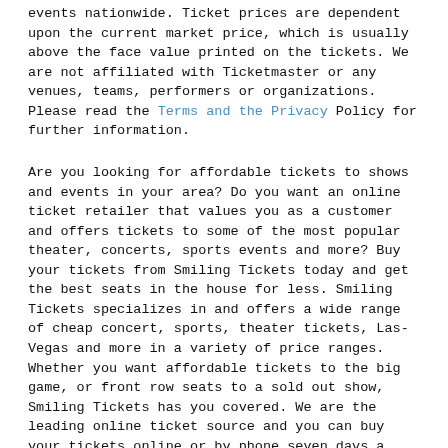events nationwide. Ticket prices are dependent upon the current market price, which is usually above the face value printed on the tickets. We are not affiliated with Ticketmaster or any venues, teams, performers or organizations. Please read the Terms and the Privacy Policy for further information.
Are you looking for affordable tickets to shows and events in your area? Do you want an online ticket retailer that values you as a customer and offers tickets to some of the most popular theater, concerts, sports events and more? Buy your tickets from Smiling Tickets today and get the best seats in the house for less. Smiling Tickets specializes in and offers a wide range of cheap concert, sports, theater tickets, Las-Vegas and more in a variety of price ranges. Whether you want affordable tickets to the big game, or front row seats to a sold out show, Smiling Tickets has you covered. We are the leading online ticket source and you can buy your tickets online or by phone seven days a week, 365 days a year.
The Smiling Tickets Mission
Headquartered in Los Angeles, CA and serving the needs of ticket buyers around the world, Smiling Tickets is a customer centric company focused on providing a wide selection of event tickets, friendly service and professional support every time you visit our site. We offer tickets to some of the best shows, sporting events and venues available and we work with thousands of ticket brokers around the country. As one of the industry's leading ticket exchanges, we have made it our mission to continue offering premium and discount event tickets along with our exclusive straightforward and fair pricing guarantee with the best sw